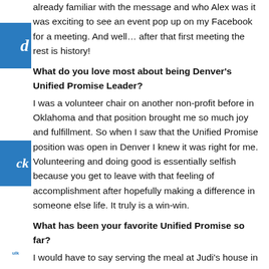already familiar with the message and who Alex was it was exciting to see an event pop up on my Facebook for a meeting. And well… after that first meeting the rest is history!
What do you love most about being Denver's Unified Promise Leader?
I was a volunteer chair on another non-profit before in Oklahoma and that position brought me so much joy and fulfillment. So when I saw that the Unified Promise position was open in Denver I knew it was right for me. Volunteering and doing good is essentially selfish because you get to leave with that feeling of accomplishment after hopefully making a difference in someone else life. It truly is a win-win.
What has been your favorite Unified Promise so far?
I would have to say serving the meal at Judi's house in